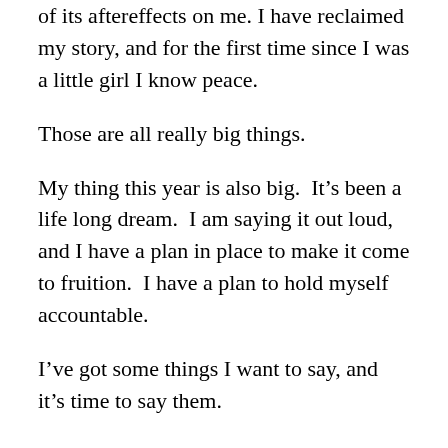of its aftereffects on me. I have reclaimed my story, and for the first time since I was a little girl I know peace.
Those are all really big things.
My thing this year is also big.  It's been a life long dream.  I am saying it out loud, and I have a plan in place to make it come to fruition.  I have a plan to hold myself accountable.
I've got some things I want to say, and it's time to say them.
This year I am writing a book.
That's exciting to write.  Exciting and terrifying.